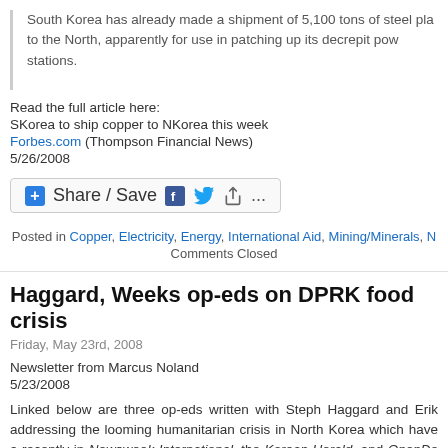South Korea has already made a shipment of 5,100 tons of steel pla to the North, apparently for use in patching up its decrepit pow stations.
Read the full article here:
SKorea to ship copper to NKorea this week
Forbes.com (Thompson Financial News)
5/26/2008
[Figure (other): Share / Save button with Facebook, Twitter, and share icons]
Posted in Copper, Electricity, Energy, International Aid, Mining/Minerals, N... Comments Closed
Haggard, Weeks op-eds on DPRK food crisis
Friday, May 23rd, 2008
Newsletter from Marcus Noland
5/23/2008
Linked below are three op-eds written with Steph Haggard and Erik addressing the looming humanitarian crisis in North Korea which have a recently in Newsweek International, the Korean Herald, and OpenDe respectively: